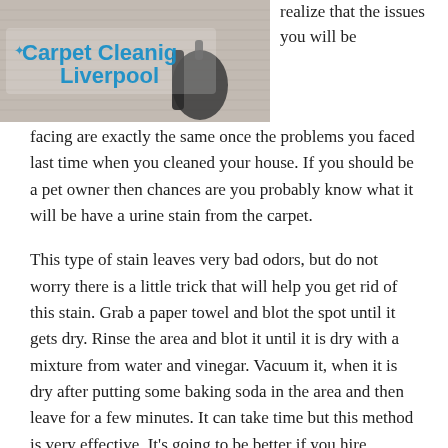[Figure (photo): Photo of carpet cleaning equipment on carpet, with 'Carpet Cleaning Liverpool' logo overlay in blue text]
realize that the issues you will be facing are exactly the same once the problems you faced last time when you cleaned your house. If you should be a pet owner then chances are you probably know what it will be have a urine stain from the carpet.
This type of stain leaves very bad odors, but do not worry there is a little trick that will help you get rid of this stain. Grab a paper towel and blot the spot until it gets dry. Rinse the area and blot it until it is dry with a mixture from water and vinegar. Vacuum it, when it is dry after putting some baking soda in the area and then leave for a few minutes. It can take time but this method is very effective. It's going to be better if you hire professionals if you are a busy kind of person and you also try not to have time to deal with such problems as stains on your carpet. This is how our websites will be really helpful. The websites will guide which